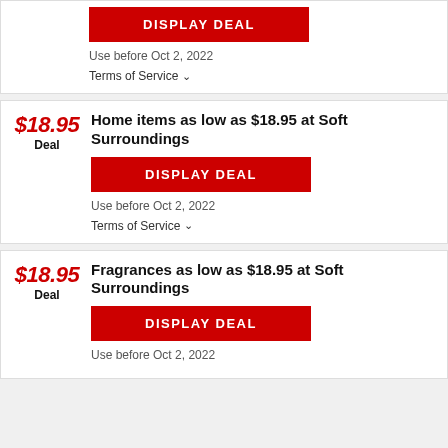[Figure (screenshot): Partial deal card at top showing only DISPLAY DEAL button, use before date, and Terms of Service]
Use before Oct 2, 2022
Terms of Service ∨
Home items as low as $18.95 at Soft Surroundings
DISPLAY DEAL
Use before Oct 2, 2022
Terms of Service ∨
Fragrances as low as $18.95 at Soft Surroundings
DISPLAY DEAL
Use before Oct 2, 2022